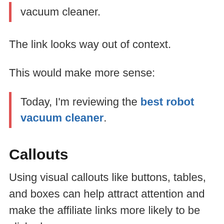vacuum cleaner.
The link looks way out of context.
This would make more sense:
Today, I'm reviewing the best robot vacuum cleaner.
Callouts
Using visual callouts like buttons, tables, and boxes can help attract attention and make the affiliate links more likely to be clicked on.